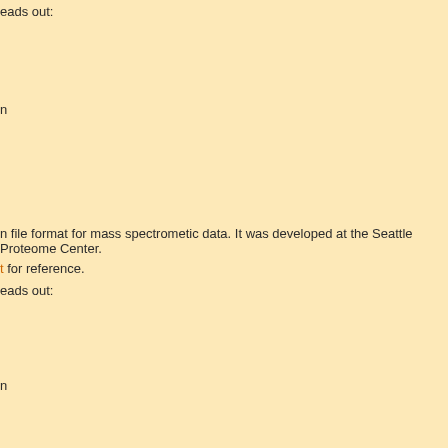eads out:
n
n file format for mass spectrometic data. It was developed at the Seattle Proteome Center.
t for reference.
eads out:
n